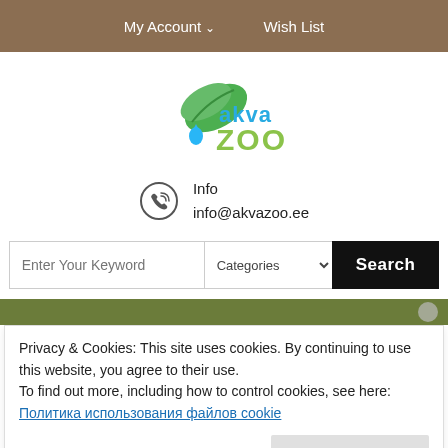My Account  Wish List
[Figure (logo): AkvaZoo logo with green leaf and blue/green text reading 'akva ZOO']
Info
info@akvazoo.ee
Enter Your Keyword  Categories  Search
Privacy & Cookies: This site uses cookies. By continuing to use this website, you agree to their use.
To find out more, including how to control cookies, see here:
Политика использования файлов cookie
Принять и закрыть
Remover